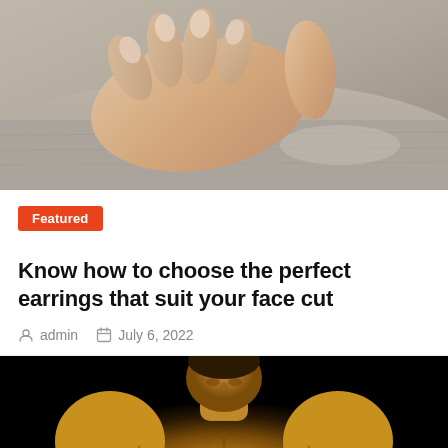[Figure (photo): Close-up photo of a person's hand resting on their knee/leg, wearing a bracelet, gray fabric visible]
Featured
Know how to choose the perfect earrings that suit your face cut
admin   July 6, 2022
[Figure (photo): Photo of a muscular bodybuilder man posing with head down, looking at his muscles, dark background]